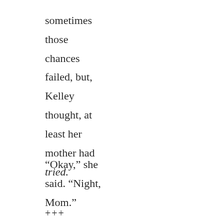sometimes those chances failed, but, Kelley thought, at least her mother had tried.
“Okay,” she said. “Night, Mom.”
+++